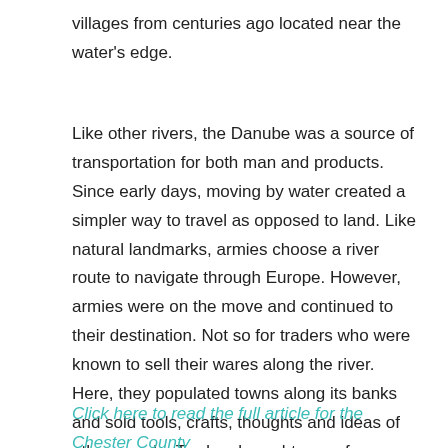villages from centuries ago located near the water's edge.
Like other rivers, the Danube was a source of transportation for both man and products. Since early days, moving by water created a simpler way to travel as opposed to land. Like natural landmarks, armies choose a river route to navigate through Europe. However, armies were on the move and continued to their destination. Not so for traders who were known to sell their wares along the river. Here, they populated towns along its banks and sold tools, crafts, thoughts and ideas of other people. Traders brought news from other lands and were a source of information.
Click here to read the full article for the Chester County